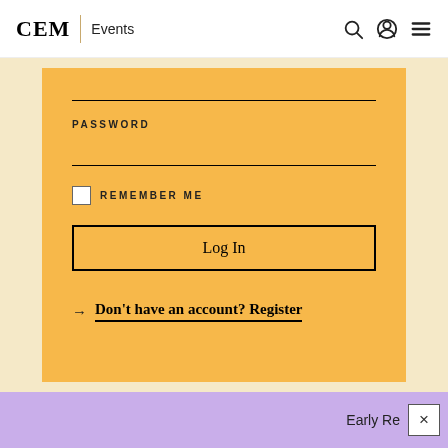CEM | Events
PASSWORD
REMEMBER ME
Log In
→ Don't have an account? Register
Early Re